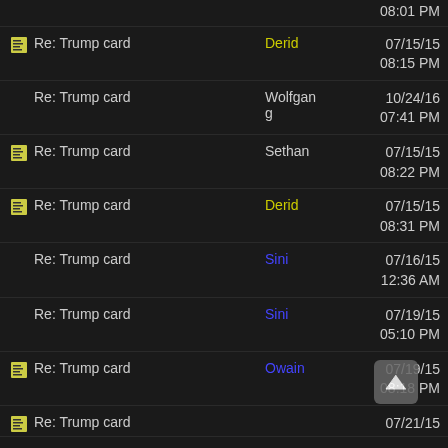08:01 PM
Re: Trump card | Derid | 07/15/15 08:15 PM
Re: Trump card | Wolfgang | 10/24/16 07:41 PM
Re: Trump card | Sethan | 07/15/15 08:22 PM
Re: Trump card | Derid | 07/15/15 08:31 PM
Re: Trump card | Sini | 07/16/15 12:36 AM
Re: Trump card | Sini | 07/19/15 05:10 PM
Re: Trump card | Owain | 07/19/15 08:18 PM
Re: Trump card | ... | 07/21/15